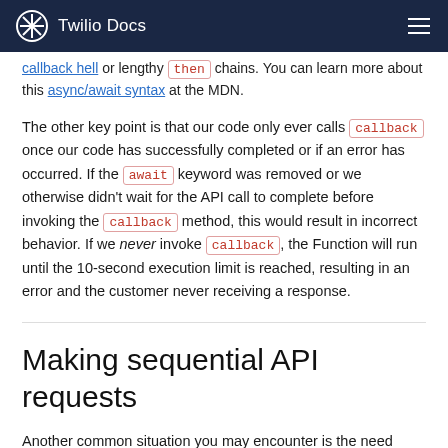Twilio Docs
callback hell or lengthy .then chains. You can learn more about this async/await syntax at the MDN.
The other key point is that our code only ever calls callback once our code has successfully completed or if an error has occurred. If the await keyword was removed or we otherwise didn't wait for the API call to complete before invoking the callback method, this would result in incorrect behavior. If we never invoke callback, the Function will run until the 10-second execution limit is reached, resulting in an error and the customer never receiving a response.
Making sequential API requests
Another common situation you may encounter is the need